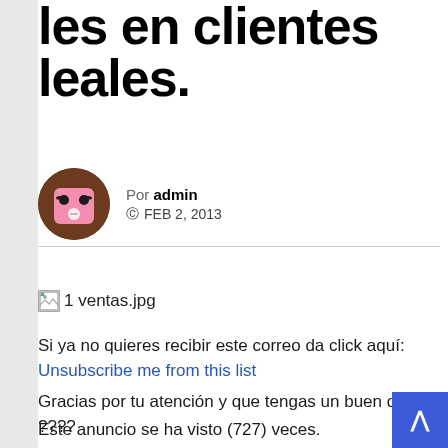les en clientes leales.
Por admin
FEB 2, 2013
[Figure (illustration): Broken image placeholder with filename: 1 ventas.jpg]
Si ya no quieres recibir este correo da click aquí: Unsubscribe me from this list
Gracias por tu atención y que tengas un buen día. ????
Este anuncio se ha visto (727) veces.